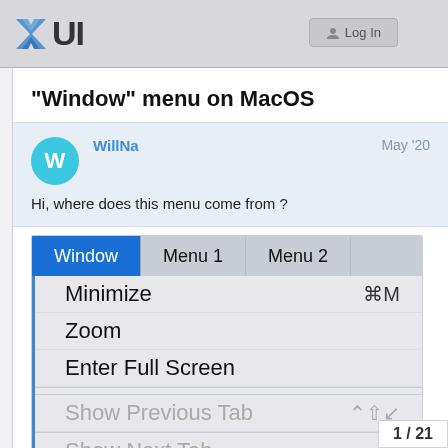XUI  Log In
“Window” menu on MacOS
WillNa  May ’20
Hi, where does this menu come from ?
[Figure (screenshot): MacOS Window menu dropdown showing items: Window (selected, blue), Menu 1, Menu 2 in the menu bar. Dropdown shows: Minimize (⌘M), Zoom, Enter Full Screen, then dimmed: Show Previous Tab, Show Next Tab]
1 / 21